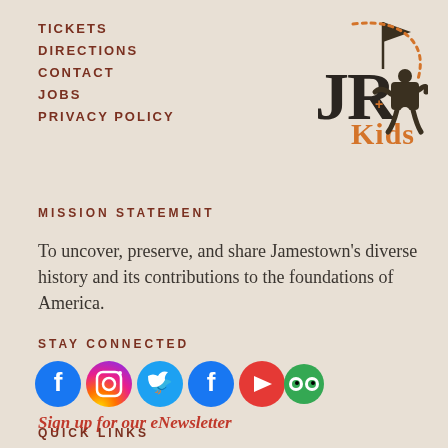TICKETS
DIRECTIONS
CONTACT
JOBS
PRIVACY POLICY
[Figure (logo): JR Kids logo with puzzle piece characters and a flag]
MISSION STATEMENT
To uncover, preserve, and share Jamestown's diverse history and its contributions to the foundations of America.
STAY CONNECTED
[Figure (infographic): Social media icons: Facebook, Instagram, Twitter, Facebook, YouTube, TripAdvisor]
Sign up for our eNewsletter
QUICK LINKS